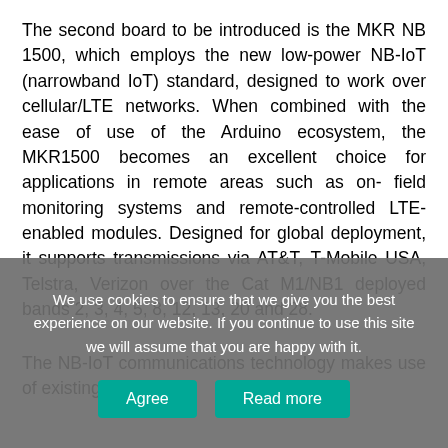The second board to be introduced is the MKR NB 1500, which employs the new low-power NB-IoT (narrowband IoT) standard, designed to work over cellular/LTE networks. When combined with the ease of use of the Arduino ecosystem, the MKR1500 becomes an excellent choice for applications in remote areas such as on- field monitoring systems and remote-controlled LTE-enabled modules. Designed for global deployment, it supports transmissions via AT&T, T-Mobile USA, Telstra, Verizon over the Cat M1/NB1 deployed bands 2, 3, 4, 5, 8, 12, 13, 20 and 28.
The NB-IoT communications technology makes use of existing
We use cookies to ensure that we give you the best experience on our website. If you continue to use this site we will assume that you are happy with it.